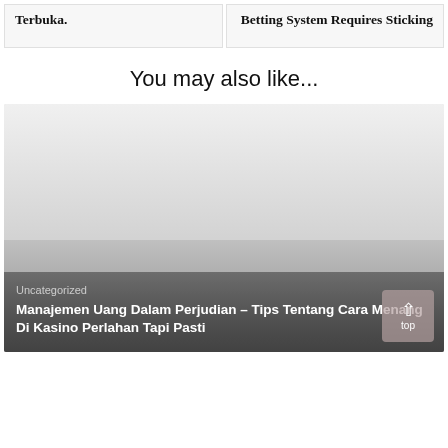Terbuka.
Betting System Requires Sticking
You may also like...
Uncategorized
Manajemen Uang Dalam Perjudian – Tips Tentang Cara Menang Di Kasino Perlahan Tapi Pasti